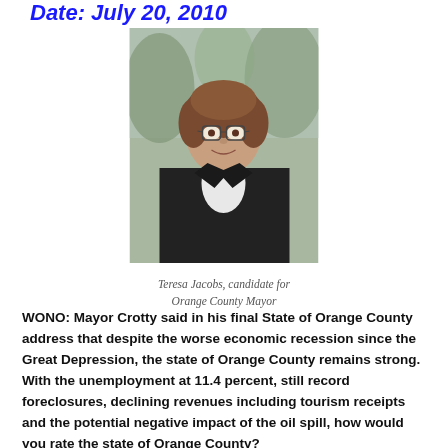Date: July 20, 2010
[Figure (photo): Professional headshot of Teresa Jacobs, a middle-aged woman with short brown hair and glasses, wearing a dark blazer over a white shirt, smiling outdoors.]
Teresa Jacobs, candidate for Orange County Mayor
WONO: Mayor Crotty said in his final State of Orange County address that despite the worse economic recession since the Great Depression, the state of Orange County remains strong. With the unemployment at 11.4 percent, still record foreclosures, declining revenues including tourism receipts and the potential negative impact of the oil spill, how would you rate the state of Orange County?